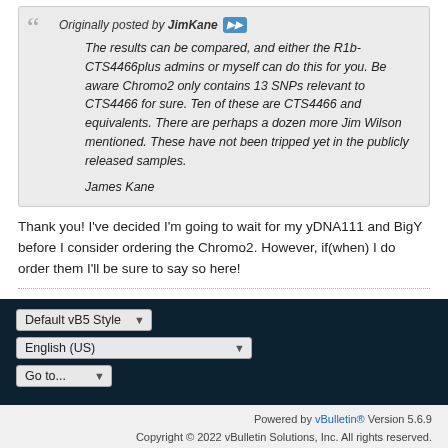Originally posted by JimKane [>>] The results can be compared, and either the R1b-CTS4466plus admins or myself can do this for you. Be aware Chromo2 only contains 13 SNPs relevant to CTS4466 for sure. Ten of these are CTS4466 and equivalents. There are perhaps a dozen more Jim Wilson mentioned. These have not been tripped yet in the publicly released samples.

James Kane
Thank you! I've decided I'm going to wait for my yDNA111 and BigY before I consider ordering the Chromo2. However, if(when) I do order them I'll be sure to say so here!
Default vB5 Style | English (US) | Go to... | Powered by vBulletin® Version 5.6.9. Copyright © 2022 vBulletin Solutions, Inc. All rights reserved. All times are GMT-6. This page was generated at 01:34 AM.